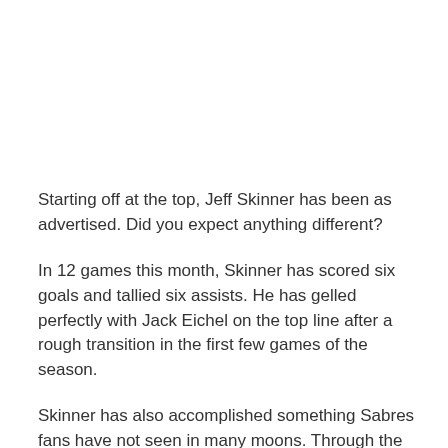Starting off at the top, Jeff Skinner has been as advertised. Did you expect anything different?
In 12 games this month, Skinner has scored six goals and tallied six assists. He has gelled perfectly with Jack Eichel on the top line after a rough transition in the first few games of the season.
Skinner has also accomplished something Sabres fans have not seen in many moons. Through the month of October, his plus / minus is +10.